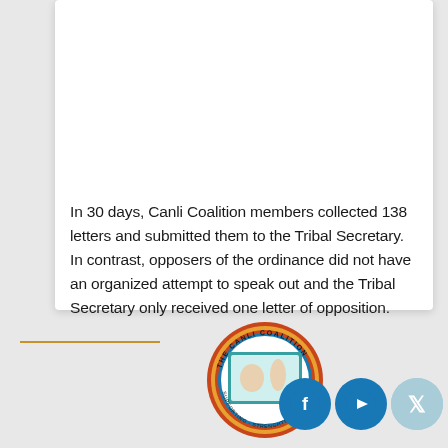In 30 days, Canli Coalition members collected 138 letters and submitted them to the Tribal Secretary. In contrast, opposers of the ordinance did not have an organized attempt to speak out and the Tribal Secretary only received one letter of opposition.
[Figure (logo): The Canli Coalition circular logo with decorative border and hand gestures]
[Figure (logo): Social media icons: Facebook, YouTube, Twitter]